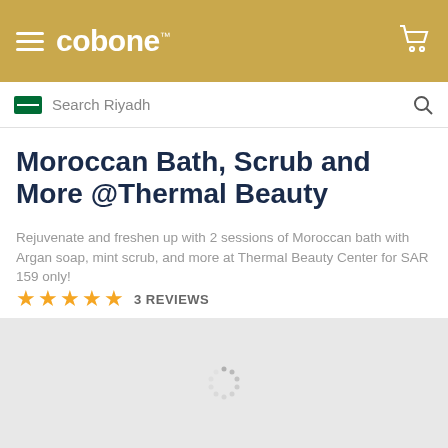cobone
Search Riyadh
Moroccan Bath, Scrub and More @Thermal Beauty
Rejuvenate and freshen up with 2 sessions of Moroccan bath with Argan soap, mint scrub, and more at Thermal Beauty Center for SAR 159 only!
★★★★★ 3 REVIEWS
[Figure (map): Loading map with spinning indicator dots]